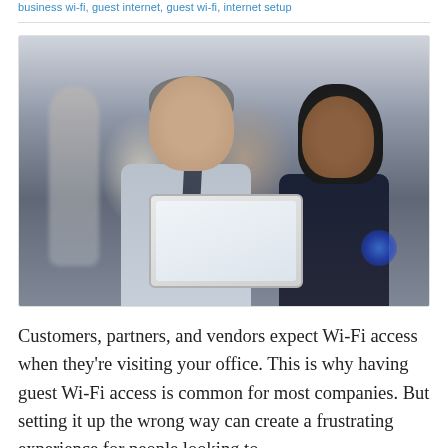business wi-fi, guest internet, guest wi-fi, internet setup
[Figure (photo): Two business professionals, a middle-aged man with grey hair wearing a light blue shirt and dark tie, and a young woman in a dark sleeveless top, looking at a tablet together in an office setting with a blurred background.]
Customers, partners, and vendors expect Wi-Fi access when they're visiting your office. This is why having guest Wi-Fi access is common for most companies. But setting it up the wrong way can create a frustrating experience for people looking to